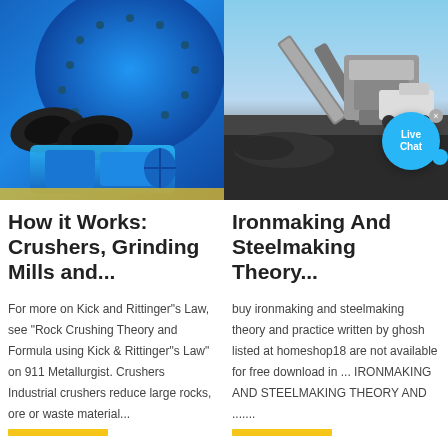[Figure (photo): Close-up photo of a large blue industrial grinding mill with rubber tires and blue electric motor at base]
[Figure (photo): Photo of industrial crushing/screening equipment at a site with conveyor belts and piles of dark aggregate material; Live Chat bubble overlay]
How it Works: Crushers, Grinding Mills and...
Ironmaking And Steelmaking Theory...
For more on Kick and Rittinger"s Law, see "Rock Crushing Theory and Formula using Kick & Rittinger"s Law" on 911 Metallurgist. Crushers Industrial crushers reduce large rocks, ore or waste material...
buy ironmaking and steelmaking theory and practice written by ghosh listed at homeshop18 are not available for free download in ... IRONMAKING AND STEELMAKING THEORY AND .......